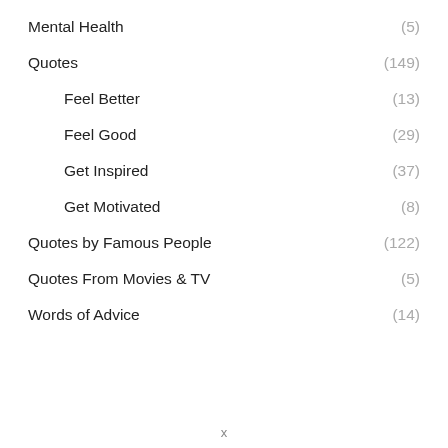Mental Health (5)
Quotes (149)
Feel Better (13)
Feel Good (29)
Get Inspired (37)
Get Motivated (8)
Quotes by Famous People (122)
Quotes From Movies & TV (5)
Words of Advice (14)
x